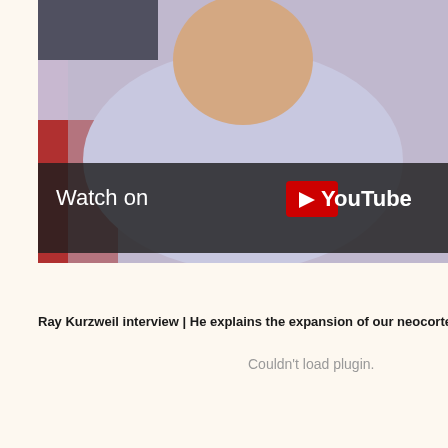[Figure (screenshot): YouTube video thumbnail showing a man in a light blue shirt sitting in front of a red couch background. A 'Watch on YouTube' overlay button is visible in the lower-left of the video frame.]
Ray Kurzweil interview | He explains the expansion of our neocortex into
Couldn't load plugin.